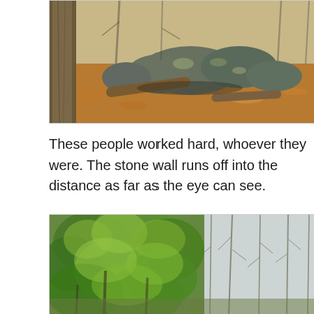[Figure (photo): Outdoor forest scene showing large lichen-covered boulders forming a stone wall, with a tree trunk on the left, fallen logs, and dead leaves on the ground. Early spring with bare trees in the background.]
These people worked hard, whoever they were. The stone wall runs off into the distance as far as the eye can see.
[Figure (photo): Forest scene with dense green conifer trees (spruce or fir) with bright spring foliage on the left side, and bare deciduous trees on the right side. Bright sky visible through the canopy.]